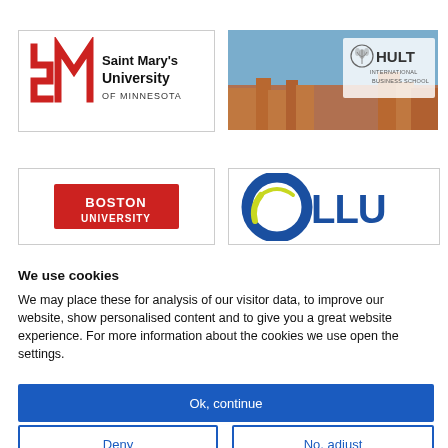[Figure (logo): Saint Mary's University of Minnesota logo — red stylized SM icon on left, black text 'Saint Mary's University OF MINNESOTA' on right]
[Figure (logo): Hult International Business School logo — wheat/plant crest icon with 'HULT INTERNATIONAL BUSINESS SCHOOL' text over a city skyline photo background]
[Figure (logo): Boston University logo — white text 'BOSTON UNIVERSITY' on red background rectangle]
[Figure (logo): OLLU logo — blue circular swoosh/O graphic with yellow accent, bold dark blue text 'LLU']
We use cookies
We may place these for analysis of our visitor data, to improve our website, show personalised content and to give you a great website experience. For more information about the cookies we use open the settings.